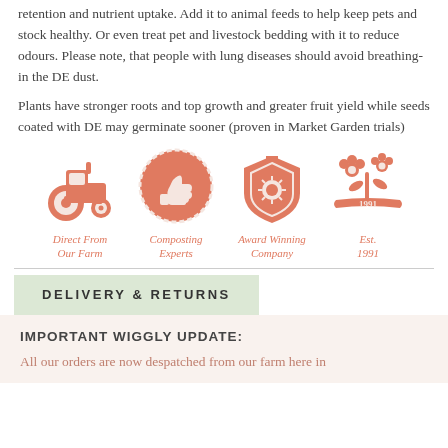retention and nutrient uptake. Add it to animal feeds to help keep pets and stock healthy. Or even treat pet and livestock bedding with it to reduce odours. Please note, that people with lung diseases should avoid breathing-in the DE dust.
Plants have stronger roots and top growth and greater fruit yield while seeds coated with DE may germinate sooner (proven in Market Garden trials)
[Figure (illustration): Four salmon/coral colored badge icons: a tractor (Direct From Our Farm), a thumbs up circle (Composting Experts), a shield with sun (Award Winning Company), and flowers with ribbon (Est. 1991)]
DELIVERY & RETURNS
IMPORTANT WIGGLY UPDATE:
All our orders are now despatched from our farm here in